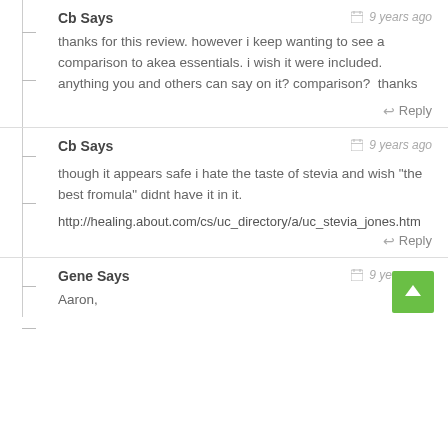Cb Says
9 years ago
thanks for this review. however i keep wanting to see a comparison to akea essentials. i wish it were included. anything you and others can say on it? comparison?  thanks
Reply
Cb Says
9 years ago
though it appears safe i hate the taste of stevia and wish "the best fromula" didnt have it in it.
http://healing.about.com/cs/uc_directory/a/uc_stevia_jones.htm
Reply
Gene Says
9 years ago
Aaron,